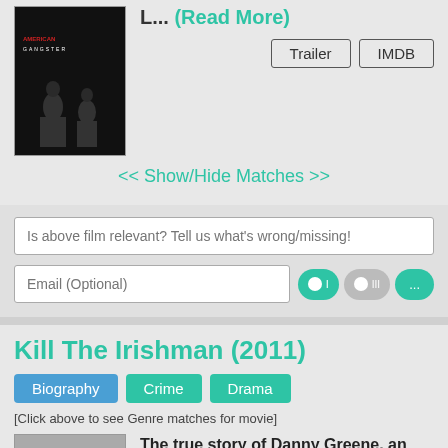L... (Read More)
Trailer  IMDB
<< Show/Hide Matches >>
Is above film relevant? Tell us what's wrong/missing!
Email (Optional)
Kill The Irishman (2011)
Biography  Crime  Drama
[Click above to see Genre matches for movie]
The true story of Danny Greene, an impoverished but charismatic young